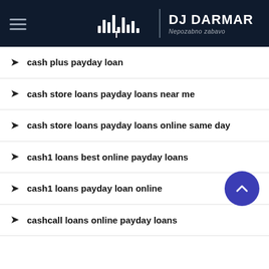DJ DARMAR — Nepozabno zabavo
cash plus payday loan
cash store loans payday loans near me
cash store loans payday loans online same day
cash1 loans best online payday loans
cash1 loans payday loan online
cashcall loans online payday loans